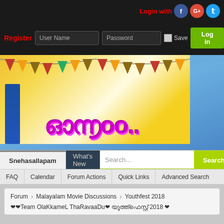Login with [Facebook] [Google+] [Twitter]
Register | User Name | Password | Save | Log in
[Figure (illustration): Colorful celebration banner with bunting triangles and Malayalam/decorative text on a blue and yellow background]
Snehasallapam | What's New | Search... | Search
FAQ | Calendar | Forum Actions | Quick Links | Advanced Search
Forum > Malayalam Movie Discussions > Youthfest 2018 > ❤❤Team OlaKkameL ThaRavaaDu❤ യൂത്ത്ഫെസ്റ്റ് 2018 ❤